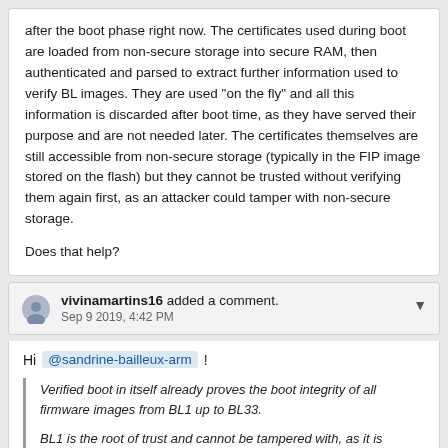after the boot phase right now. The certificates used during boot are loaded from non-secure storage into secure RAM, then authenticated and parsed to extract further information used to verify BL images. They are used "on the fly" and all this information is discarded after boot time, as they have served their purpose and are not needed later. The certificates themselves are still accessible from non-secure storage (typically in the FIP image stored on the flash) but they cannot be trusted without verifying them again first, as an attacker could tamper with non-secure storage.
Does that help?
vivinamartins16 added a comment. Sep 9 2019, 4:42 PM
Hi @sandrine-bailleux-arm !
Verified boot in itself already proves the boot integrity of all firmware images from BL1 up to BL33.
BL1 is the root of trust and cannot be tampered with, as it is